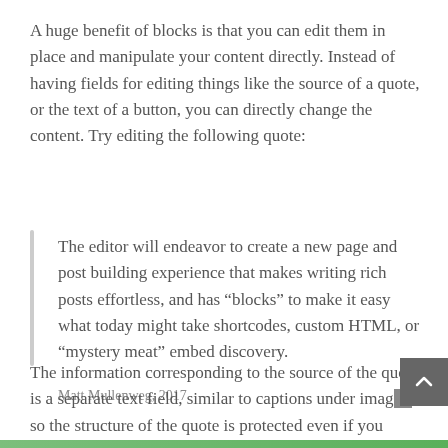A huge benefit of blocks is that you can edit them in place and manipulate your content directly. Instead of having fields for editing things like the source of a quote, or the text of a button, you can directly change the content. Try editing the following quote:
The editor will endeavor to create a new page and post building experience that makes writing rich posts effortless, and has “blocks” to make it easy what today might take shortcodes, custom HTML, or “mystery meat” embed discovery.
Matt Mullenweg, 2017
The information corresponding to the source of the quote is a separate text field, similar to captions under imag… so the structure of the quote is protected even if you